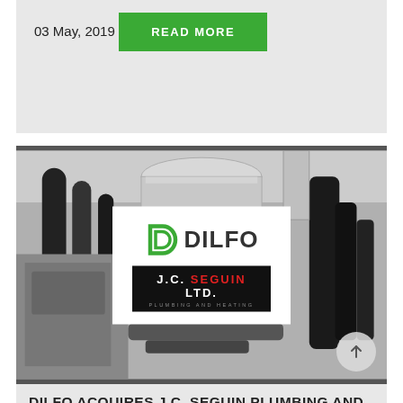03 May, 2019
READ MORE
[Figure (photo): Industrial pipes and ductwork on ceiling with DILFO and J.C. Seguin Ltd. Plumbing and Heating logo overlay]
DILFO ACQUIRES J.C. SEGUIN PLUMBING AND HEATING LTD.